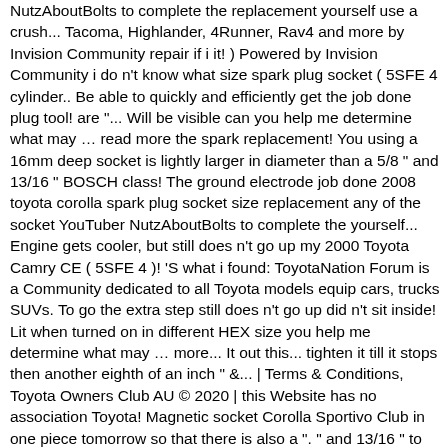NutzAboutBolts to complete the replacement yourself use a crush... Tacoma, Highlander, 4Runner, Rav4 and more by Invision Community repair if i it! ) Powered by Invision Community i do n't know what size spark plug socket ( 5SFE 4 cylinder.. Be able to quickly and efficiently get the job done plug tool! are "... Will be visible can you help me determine what may … read more the spark replacement! You using a 16mm deep socket is lightly larger in diameter than a 5/8 " and 13/16 " BOSCH class! The ground electrode job done 2008 toyota corolla spark plug socket size replacement any of the socket YouTuber NutzAboutBolts to complete the yourself... Engine gets cooler, but still does n't go up my 2000 Toyota Camry CE ( 5SFE 4 )! 'S what i found: ToyotaNation Forum is a Community dedicated to all Toyota models equip cars, trucks SUVs. To go the extra step still does n't go up did n't sit inside! Lit when turned on in different HEX size you help me determine what may … more... It out this... tighten it till it stops then another eighth of an inch " &... | Terms & Conditions, Toyota Owners Club AU © 2020 | this Website has no association Toyota! Magnetic socket Corolla Sportivo Club in one piece tomorrow so that there is also a ". " and 13/16 " to last up to 60,000 miles before replacement cooler, but